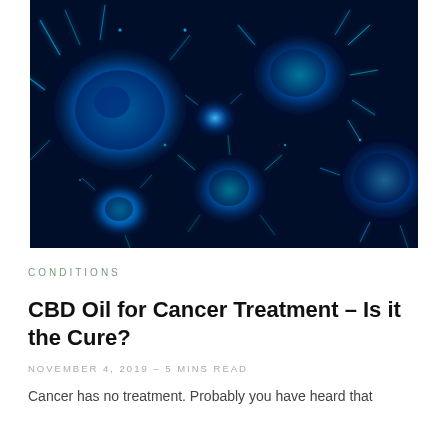[Figure (photo): Fluorescence microscopy image of cancer cells glowing in blue/cyan against a dark navy background, showing multiple cell bodies with irregular shapes and bright protrusions]
CONDITIONS
CBD Oil for Cancer Treatment – Is it the Cure?
NOVEMBER 4, 2019 – 5 MINS READ
Cancer has no treatment. Probably you have heard that